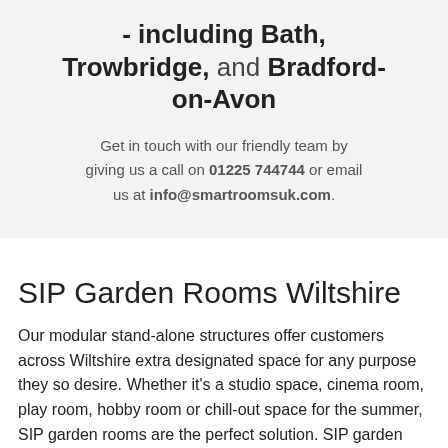- including Bath, Trowbridge, and Bradford-on-Avon
Get in touch with our friendly team by giving us a call on 01225 744744 or email us at info@smartroomsuk.com.
SIP Garden Rooms Wiltshire
Our modular stand-alone structures offer customers across Wiltshire extra designated space for any purpose they so desire. Whether it's a studio space, cinema room, play room, hobby room or chill-out space for the summer, SIP garden rooms are the perfect solution. SIP garden rooms are fully insulated